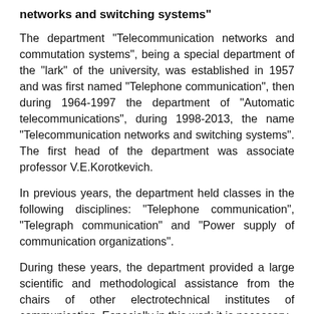networks and switching systems"
The department “Telecommunication networks and commutation systems”, being a special department of the "lark" of the university, was established in 1957 and was first named “Telephone communication”, then during 1964-1997 the department of “Automatic telecommunications”, during 1998-2013, the name “Telecommunication networks and switching systems”. The first head of the department was associate professor V.E.Korotkevich.
In previous years, the department held classes in the following disciplines: “Telephone communication”, “Telegraph communication” and “Power supply of communication organizations”.
During these years, the department provided a large scientific and methodological assistance from the chairs of other electrotechnical institutes of communication. Especially in this work it is necessary